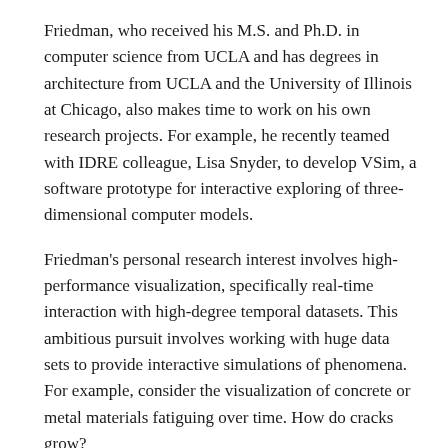Friedman, who received his M.S. and Ph.D. in computer science from UCLA and has degrees in architecture from UCLA and the University of Illinois at Chicago, also makes time to work on his own research projects. For example, he recently teamed with IDRE colleague, Lisa Snyder, to develop VSim, a software prototype for interactive exploring of three-dimensional computer models.
Friedman's personal research interest involves high-performance visualization, specifically real-time interaction with high-degree temporal datasets. This ambitious pursuit involves working with huge data sets to provide interactive simulations of phenomena. For example, consider the visualization of concrete or metal materials fatiguing over time. How do cracks grow?
Cracks begin as tiny microfractures hidden deep within the material, invisible to the naked eye. Researchers have